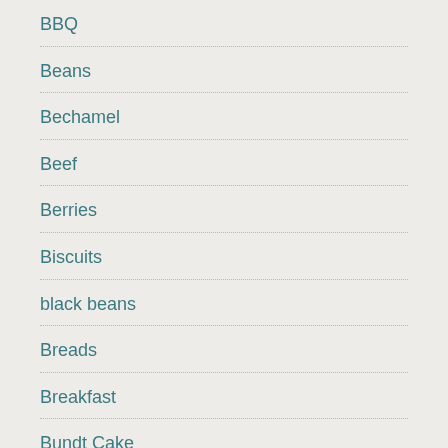BBQ
Beans
Bechamel
Beef
Berries
Biscuits
black beans
Breads
Breakfast
Bundt Cake